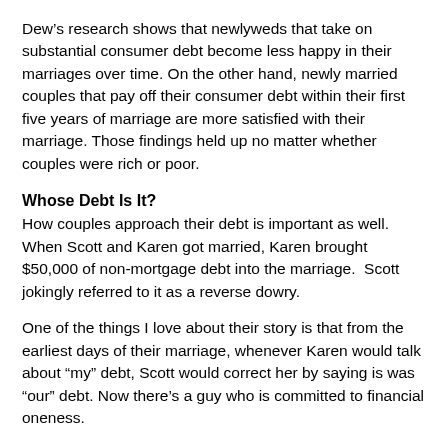Dew’s research shows that newlyweds that take on substantial consumer debt become less happy in their marriages over time. On the other hand, newly married couples that pay off their consumer debt within their first five years of marriage are more satisfied with their marriage. Those findings held up no matter whether couples were rich or poor.
Whose Debt Is It?
How couples approach their debt is important as well. When Scott and Karen got married, Karen brought $50,000 of non-mortgage debt into the marriage.  Scott jokingly referred to it as a reverse dowry.
One of the things I love about their story is that from the earliest days of their marriage, whenever Karen would talk about “my” debt, Scott would correct her by saying is was “our” debt. Now there’s a guy who is committed to financial oneness.
One other notable part of their story is that their faith